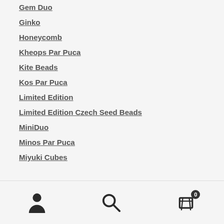Gem Duo
Ginko
Honeycomb
Kheops Par Puca
Kite Beads
Kos Par Puca
Limited Edition
Limited Edition Czech Seed Beads
MiniDuo
Minos Par Puca
Miyuki Cubes